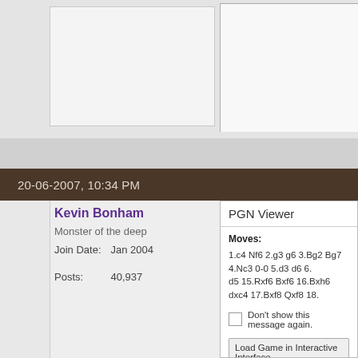20-06-2007, 10:34 PM
Kevin Bonham
Monster of the deep
Join Date: Jan 2004
Posts: 40,937
PGN Viewer
Moves: 1.c4 Nf6 2.g3 g6 3.Bg2 Bg7 4.Nc3 0-0 5.d3 d6 6. d5 15.Rxf6 Bxf6 16.Bxh6 dxc4 17.Bxf8 Qxf8 18.
Don't show this message again.
Load Game in Interactive Interface